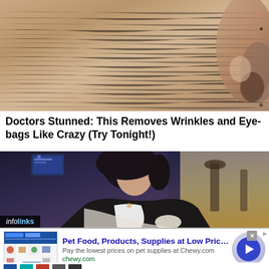[Figure (photo): Close-up macro photo of aged human skin showing wrinkles and texture, with part of a nose visible in the upper right corner]
Doctors Stunned: This Removes Wrinkles and Eye-bags Like Crazy (Try Tonight!)
[Figure (photo): Screenshot of a woman with short dark hair wearing a white shirt and black blazer, sitting at a table in what appears to be a restaurant or bar setting. The infolinks badge is visible in the lower left corner.]
[Figure (screenshot): Advertisement banner for Chewy.com: Pet Food, Products, Supplies at Low Prices - Pay the lowest prices on pet supplies at Chewy.com. Includes a thumbnail image, play button, close button, and sponsored marker.]
Pet Food, Products, Supplies at Low Prices -
Pay the lowest prices on pet supplies at Chewy.com
chewy.com